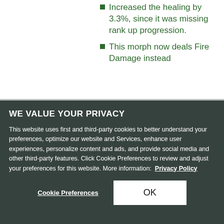Increased the healing by 3.3%, since it was missing rank up progression.
This morph now deals Fire Damage instead
WE VALUE YOUR PRIVACY
This website uses first and third-party cookies to better understand your preferences, optimize our website and Services, enhance user experiences, personalize content and ads, and provide social media and other third-party features. Click Cookie Preferences to review and adjust your preferences for this website. More information:  Privacy Policy
Cookie Preferences
OK